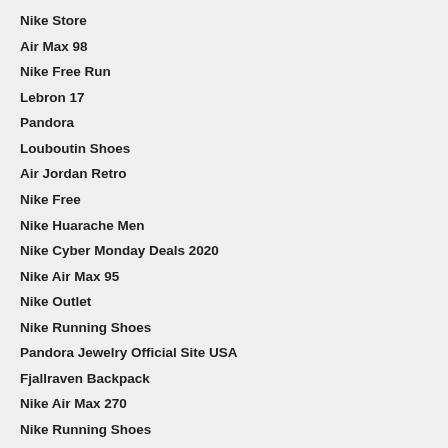Nike Store
Air Max 98
Nike Free Run
Lebron 17
Pandora
Louboutin Shoes
Air Jordan Retro
Nike Free
Nike Huarache Men
Nike Cyber Monday Deals 2020
Nike Air Max 95
Nike Outlet
Nike Running Shoes
Pandora Jewelry Official Site USA
Fjallraven Backpack
Nike Air Max 270
Nike Running Shoes
Nike Air Presto
Fjallraven Kanken
Pandora Jewelry Official Site
Nike Outlet Online
Yeezy Shoes